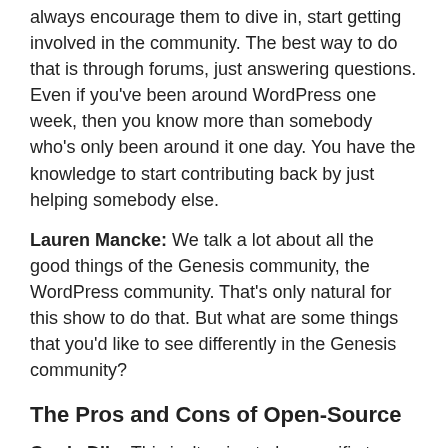always encourage them to dive in, start getting involved in the community. The best way to do that is through forums, just answering questions. Even if you've been around WordPress one week, then you know more than somebody who's only been around it one day. You have the knowledge to start contributing back by just helping somebody else.
Lauren Mancke: We talk a lot about all the good things of the Genesis community, the WordPress community. That's only natural for this show to do that. But what are some things that you'd like to see differently in the Genesis community?
The Pros and Cons of Open-Source
Carrie Dils: This isn't going to be specific to Genesis, but I see it a lot in Genesis because that's one of the communities I'm more heavily involved in, but